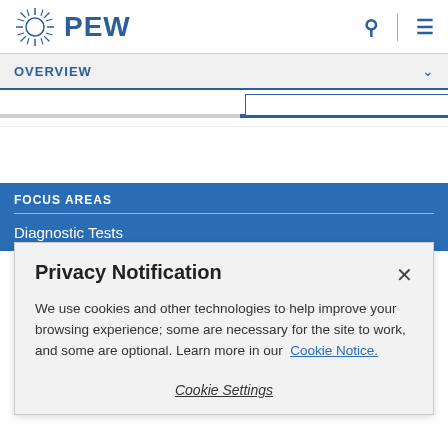[Figure (logo): PEW Research logo with sunburst icon and PEW text in blue]
OVERVIEW
FOCUS AREAS
Diagnostic Tests
Privacy Notification
We use cookies and other technologies to help improve your browsing experience; some are necessary for the site to work, and some are optional. Learn more in our Cookie Notice.
Cookie Settings